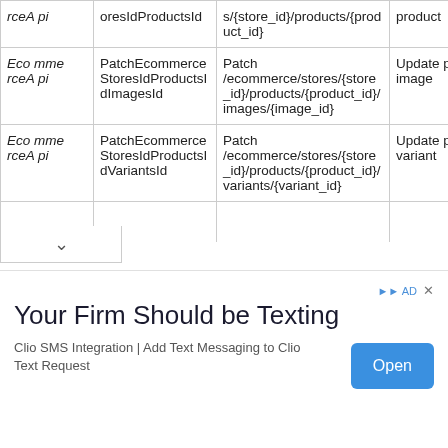|  |  |  |  |
| --- | --- | --- | --- |
| EcommerceApi | oresIdProductsId | s/{store_id}/products/{product_id} | product |
| EcommerceApi | PatchEcommerceStoresIdProductsIdImagesId | Patch /ecommerce/stores/{store_id}/products/{product_id}/images/{image_id} | Update product image |
| EcommerceApi | PatchEcommerceStoresIdProductsIdVariantsId | Patch /ecommerce/stores/{store_id}/products/{product_id}/variants/{variant_id} | Update product variant |
[Figure (other): Advertisement banner: 'Your Firm Should be Texting' - Clio SMS Integration | Add Text Messaging to Clio Text Request, with an 'Open' button]